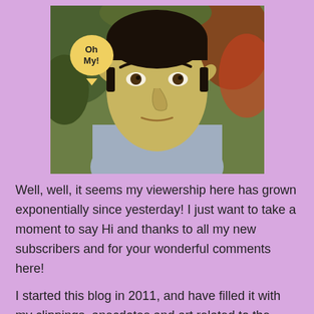[Figure (photo): Photo of Mr. Spock from Star Trek in his Starfleet uniform with a surprised expression, set against a colorful background. A yellow speech bubble overlaid on the image reads 'Oh My!']
Well, well, it seems my viewership here has grown exponentially since yesterday!  I just want to take a moment to say Hi and thanks to all my new subscribers and for your wonderful comments here!
I started this blog in 2011, and have filled it with my clippings, anecdotes and art related to the original series of Star Trek.  So far I have posted entries from my